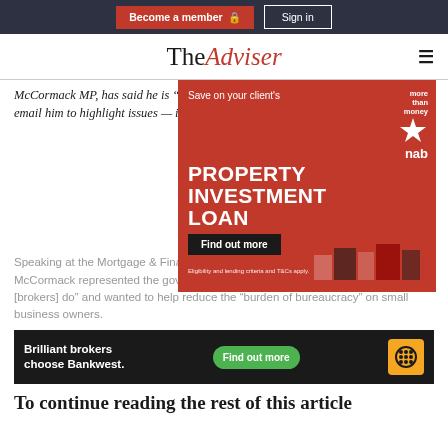Become a member  Sign in
[Figure (logo): The Adviser logo with 'The' in black serif and 'Adviser' in red italic serif]
McCormack MP, has said he is “in awe” of what brokers do and is urging them to email him to highlight issues — including those that could reduce
[Figure (infographic): NAB advertisement: Save on your client's PROPERTY INVESTMENT LOAN. Find out more. Eligibility and lending criteria and T&Cs apply. NAB more than money logo with red star.]
Speaking at the Mortgage & Finance Association Australia (MFAA) in Sydney, Mr McCormack represented the government and said the government “values what [brokers] do” and wanted to help reduce the “burden of bureaucracy” on small business owners.
[Figure (infographic): Bankwest advertisement: Brilliant brokers choose Bankwest. Find out more button. Bankwest logo.]
To continue reading the rest of this article